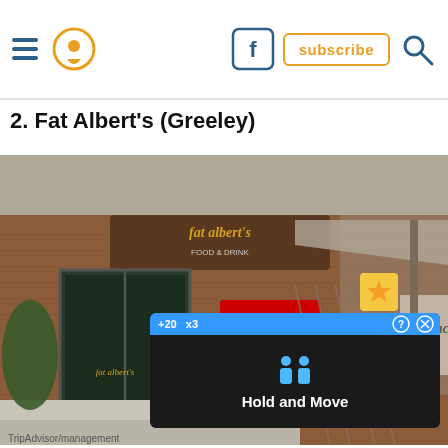Navigation header with hamburger menu, location pin icon, Facebook icon, subscribe button, and search icon
2. Fat Albert's (Greeley)
[Figure (photo): Exterior photo of Fat Albert's restaurant in Greeley. Shows brick building facade with glass entrance doors, Fat Albert's signage, a Budweiser sign, and a 'Lunch' banner in the windows. An outdoor patio area with a large umbrella visible on the right side. Concrete sidewalk in front.]
[Figure (screenshot): Mobile app ad overlay showing 'Hold and Move' UI with blue bar showing +20 and x3 indicators, two person icons, and close/help buttons]
TripAdvisor/management